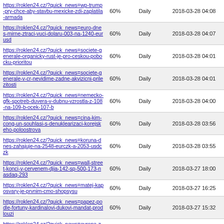| URL | Priority | Change Frequency | Last Modified |
| --- | --- | --- | --- |
| https://roklen24.cz/?quick_news=wp-trump-pry-chce-aby-stavbu-mexicke-zdi-zaplatila-armada | 60% | Daily | 2018-03-28 04:08 |
| https://roklen24.cz/?quick_news=euro-dnes-mirne-ztraci-vuci-dolaru-003-na-1240-eurusd | 60% | Daily | 2018-03-28 04:07 |
| https://roklen24.cz/?quick_news=societe-generale-organicky-rust-je-pro-ceskou-pobocku-prioritou | 60% | Daily | 2018-03-28 04:01 |
| https://roklen24.cz/?quick_news=societe-generale-v-cr-nevidime-zadne-akvizicni-prilezitosti | 60% | Daily | 2018-03-28 04:01 |
| https://roklen24.cz/?quick_news=nemecko-gfk-spotreb-duvera-v-dubnu-vzrostla-z-108-na-109-b-ocek-107-b | 60% | Daily | 2018-03-28 04:00 |
| https://roklen24.cz/?quick_news=cina-kim-cong-un-souhlasi-s-denuklearizaci-korejskeho-poloostrova | 60% | Daily | 2018-03-28 03:56 |
| https://roklen24.cz/?quick_news=koruna-dnes-zahajuje-na-2548-eurczk-a-2053-usdczk | 60% | Daily | 2018-03-28 03:55 |
| https://roklen24.cz/?quick_news=wall-street-konci-v-cervenem-djia-142-sp-500-173-nasdaq-293 | 60% | Daily | 2018-03-27 18:00 |
| https://roklen24.cz/?quick_news=matej-kaposvary-je-prvnim-cmo-shopsysu | 60% | Daily | 2018-03-27 16:25 |
| https://roklen24.cz/?quick_news=papez-podle-fortuny-kardinalovi-dukovi-mandat-prodlouzi | 60% | Daily | 2018-03-27 15:32 |
| https://roklen24.cz/?quick_news=evropa-zaver-dax-156-ftse-161-euro-stoxx-600-121 | 60% | Daily | 2018-03-27 14:12 |
| https://roklen24.cz/? | 60% | Daily |  |